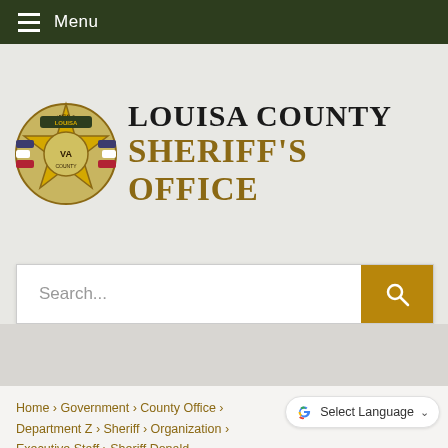Menu
[Figure (logo): Louisa County Sheriff's Office badge and text logo. Badge is a gold star with the Sheriff's Office seal. Text reads 'LOUISA COUNTY SHERIFF'S OFFICE']
Search...
Home › Government › County Office › Department Z › Sheriff › Organization › Executive Staff › Sheriff Donald